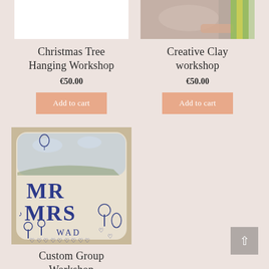[Figure (photo): White/blank image for Christmas Tree Hanging Workshop product]
[Figure (photo): Hand working with clay for Creative Clay Workshop product]
Christmas Tree Hanging Workshop
Creative Clay workshop
€50.00
€50.00
Add to cart
Add to cart
[Figure (photo): Ceramic plaque with MR MRS and decorative blue illustrations]
Custom Group Workshop